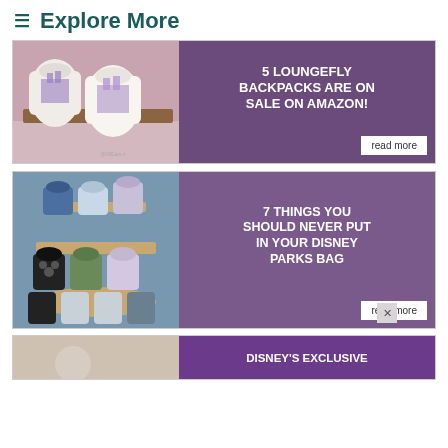≡ Explore More
[Figure (photo): Loungefly backpacks displayed on store shelf with castle design]
5 LOUNGEFLY BACKPACKS ARE ON SALE ON AMAZON!
read more
[Figure (photo): Multiple Loungefly Disney mini backpacks on a tiered display stand in a store]
7 THINGS YOU SHOULD NEVER PUT IN YOUR DISNEY PARKS BAG
read more
[Figure (photo): Partially visible third card with Disney image]
DISNEY'S EXCLUSIVE